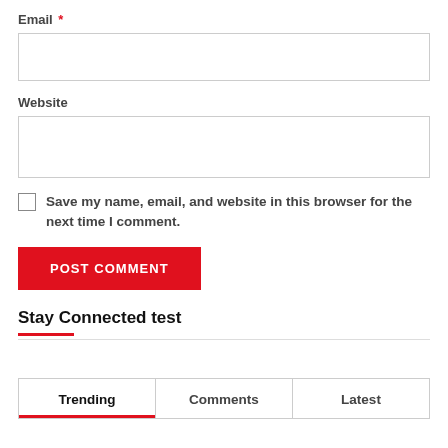Email *
Website
Save my name, email, and website in this browser for the next time I comment.
POST COMMENT
Stay Connected test
Trending | Comments | Latest